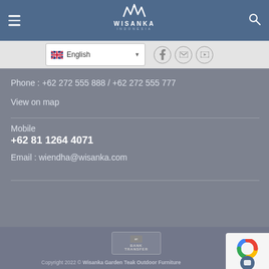Wisanka Indonesia
English
Phone : +62 272 555 888 / +62 272 555 777
View on map
Mobile
+62 81 1264 4071
Email : wiendha@wisanka.com
Copyright 2022 © Wisanka Garden Teak Outdoor Furniture